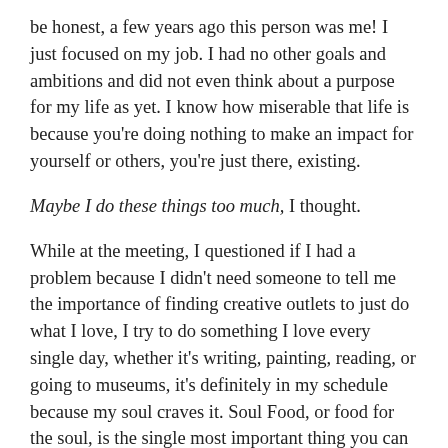be honest, a few years ago this person was me! I just focused on my job. I had no other goals and ambitions and did not even think about a purpose for my life as yet. I know how miserable that life is because you're doing nothing to make an impact for yourself or others, you're just there, existing.
Maybe I do these things too much, I thought.
While at the meeting, I questioned if I had a problem because I didn't need someone to tell me the importance of finding creative outlets to just do what I love, I try to do something I love every single day, whether it's writing, painting, reading, or going to museums, it's definitely in my schedule because my soul craves it. Soul Food, or food for the soul, is the single most important thing you can do to bring happiness and fulfillment into your life. Tapping into what you always wanted to do and just